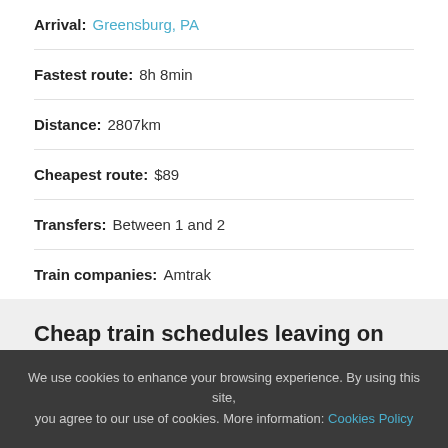Arrival: Greensburg, PA
Fastest route: 8h 8min
Distance: 2807km
Cheapest route: $89
Transfers: Between 1 and 2
Train companies: Amtrak
Cheap train schedules leaving on Monday
One Passenger / One Trip
We use cookies to enhance your browsing experience. By using this site, you agree to our use of cookies. More information: Cookies Policy